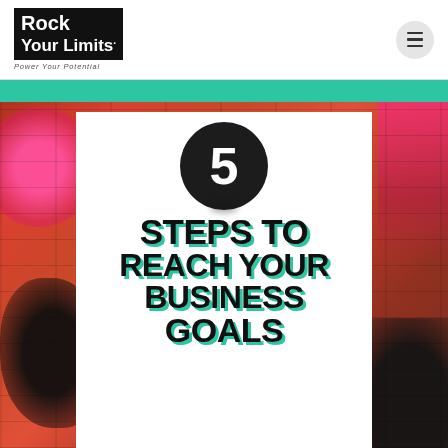[Figure (logo): Rock Your Limits logo — black background with white bold text 'Rock Your Limits' and italic tagline 'Power Your Potential']
[Figure (illustration): Webpage screenshot showing a header with Rock Your Limits logo and hamburger menu, a teal accent bar, and a graphic article thumbnail with graffiti brick wall background and white card showing '5 STEPS TO REACH YOUR BUSINESS GOALS' in bold black uppercase text with teal shadow, and a dark circle with number 5]
5 STEPS TO REACH YOUR BUSINESS GOALS